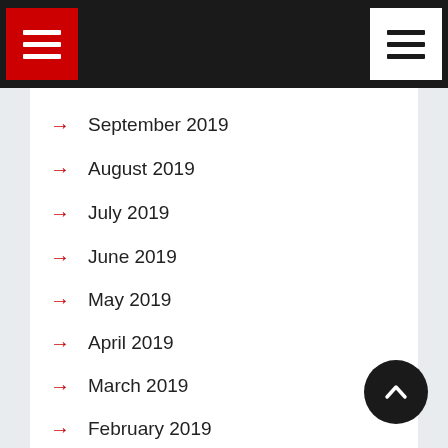Navigation header with hamburger menus
September 2019
August 2019
July 2019
June 2019
May 2019
April 2019
March 2019
February 2019
January 2019
December 2018
November 2018